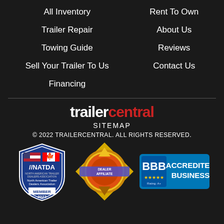All Inventory
Rent To Own
Trailer Repair
About Us
Towing Guide
Reviews
Sell Your Trailer To Us
Contact Us
Financing
trailercentral
SITEMAP
© 2022 TRAILERCENTRAL. ALL RIGHTS RESERVED.
[Figure (logo): NATDA North American Trailer Dealers Association Member 2022 badge with US and Canadian flags]
[Figure (logo): Dealer Affiliate diamond badge]
[Figure (logo): BBB Accredited Business badge]